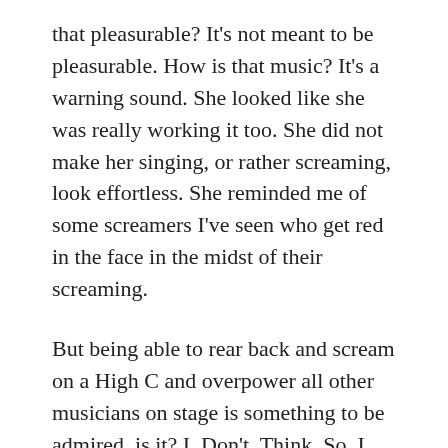that pleasurable? It's not meant to be pleasurable. How is that music? It's a warning sound. She looked like she was really working it too. She did not make her singing, or rather screaming, look effortless. She reminded me of some screamers I've seen who get red in the face in the midst of their screaming.
But being able to rear back and scream on a High C and overpower all other musicians on stage is something to be admired, is it? I. Don't. Think. So. I was never taught that at the Conservatory where I trained. Where did these idiot commenters train? It's interesting how brainwashing works. People keep being told — often by the no-nothing classical music armchair critics in comment sections — that it's good when a soprano screamer rears back and screams on a High C with wobbling vibrato. She was mic'd but